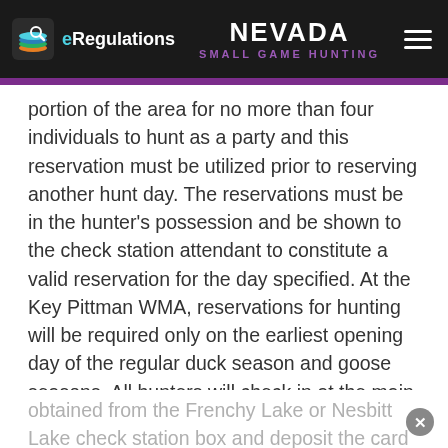eRegulations | NEVADA SMALL GAME HUNTING
portion of the area for no more than four individuals to hunt as a party and this reservation must be utilized prior to reserving another hunt day. The reservations must be in the hunter's possession and be shown to the check station attendant to constitute a valid reservation for the day specified. At the Key Pittman WMA, reservations for hunting will be required only on the earliest opening day of the regular duck season and goose seasons. All hunters will check in at the main entrance on the opening day of waterfowl season. For the remainder of the waterfowl season, hunters will complete a reservation card
obtained from the Frenchy Lake or Nesbitt Lake check station box and deposit the card in